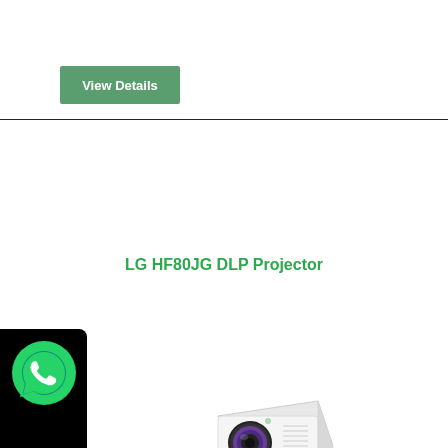View Details
LG HF80JG DLP Projector
[Figure (photo): WhatsApp logo icon on black background overlay on left side]
[Figure (photo): LG HF80JG DLP Projector product image - white compact projector unit with dark grey bottom grille and lens]
View Details